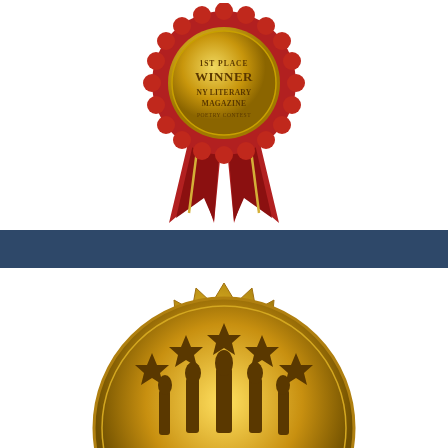[Figure (illustration): A red award ribbon rosette with gold medal center. The medal reads 'WINNER' in large text, 'NY LITERARY MAGAZINE' below, and 'POETRY CONTEST' at the bottom. Red ribbons hang below the circular medal.]
[Figure (illustration): A gold embossed award seal showing the top half of a circular starburst medallion with star cutouts and trophy/figure embossing, cropped at the bottom of the page.]